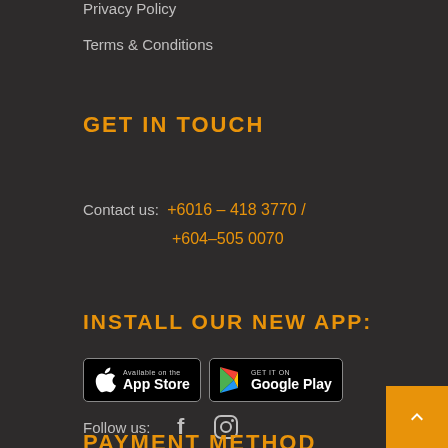Privacy Policy
Terms & Conditions
GET IN TOUCH
Contact us:  +6016 – 418 3770 / +604–505 0070
INSTALL OUR NEW APP:
[Figure (other): App Store and Google Play download buttons]
Follow us:  [Facebook icon]  [Instagram icon]
PAYMENT METHOD